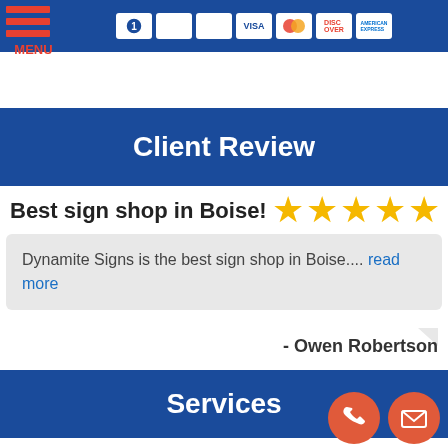[Figure (infographic): Top navigation bar with payment method icons including cash, check, credit card, Visa, Mastercard, Discover, and American Express on a blue background]
[Figure (logo): Hamburger menu icon with three red horizontal bars and the word MENU below in red]
Client Review
Best sign shop in Boise!
[Figure (infographic): Five gold star rating icons]
Dynamite Signs is the best sign shop in Boise.... read more
- Owen Robertson
Services
A-frame Signs
ADA Signs